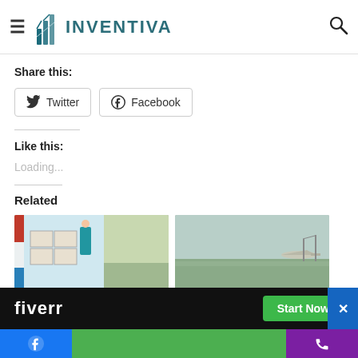vaccinated so far in over 50 countries in
INVENTIVA (logo and navigation bar with hamburger menu and search icon)
Share this:
Twitter  Facebook
Like this:
Loading...
Related
[Figure (photo): Person in blue uniform handling boxes in a refrigerated truck or storage unit]
[Figure (photo): Aerial view of an airfield or airport tarmac with planes and grass]
fiverr   Start Now
Facebook icon bar | green bar | phone icon bar